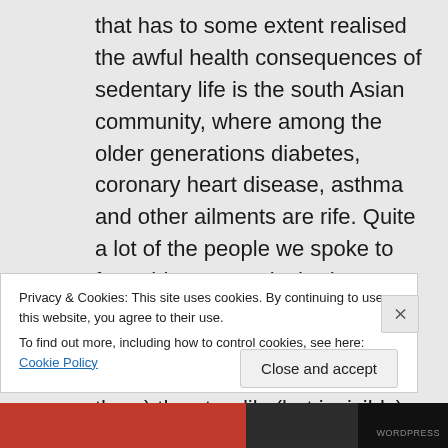that has to some extent realised the awful health consequences of sedentary life is the south Asian community, where among the older generations diabetes, coronary heart disease, asthma and other ailments are rife. Quite a lot of the people we spoke to from this community had (belatedly) understood (but only, really, because it was having a direct, dramatic impact upon them) the steadily (but invisibly) growing dangers of car-based, exercise-empty
Privacy & Cookies: This site uses cookies. By continuing to use this website, you agree to their use.
To find out more, including how to control cookies, see here: Cookie Policy
Close and accept